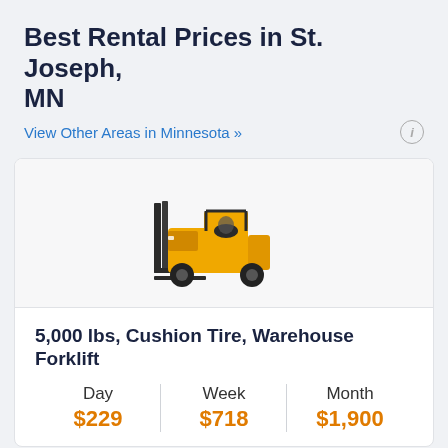Best Rental Prices in St. Joseph, MN
View Other Areas in Minnesota »
[Figure (illustration): Yellow and black forklift (5,000 lbs cushion tire warehouse forklift) facing left on white background]
5,000 lbs, Cushion Tire, Warehouse Forklift
| Day | Week | Month |
| --- | --- | --- |
| $229 | $718 | $1,900 |